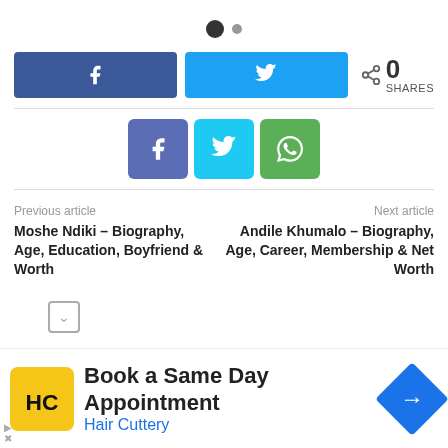[Figure (infographic): Pagination dots — one large filled black circle and one smaller grey dot]
[Figure (infographic): Social share bar with Facebook (blue) button, Twitter (light blue) button, and a share count showing 0 SHARES]
[Figure (infographic): Three social icon buttons: Facebook (purple-blue), Twitter (cyan), WhatsApp (green)]
Previous article
Next article
Moshe Ndiki – Biography, Age, Education, Boyfriend & Worth
Andile Khumalo – Biography, Age, Career, Membership & Net Worth
[Figure (infographic): Advertisement banner for Hair Cuttery: Book a Same Day Appointment, with HC logo and navigation arrow icon]